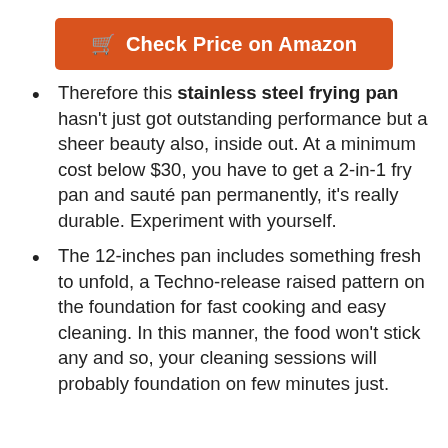[Figure (other): Orange 'Check Price on Amazon' button with shopping cart icon]
Therefore this stainless steel frying pan hasn't just got outstanding performance but a sheer beauty also, inside out. At a minimum cost below $30, you have to get a 2-in-1 fry pan and sauté pan permanently, it's really durable. Experiment with yourself.
The 12-inches pan includes something fresh to unfold, a Techno-release raised pattern on the foundation for fast cooking and easy cleaning. In this manner, the food won't stick any and so, your cleaning sessions will probably foundation on few minutes just.